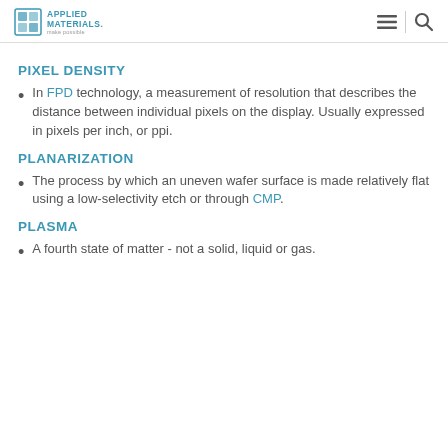Applied Materials - make possible
PIXEL DENSITY
In FPD technology, a measurement of resolution that describes the distance between individual pixels on the display. Usually expressed in pixels per inch, or ppi.
PLANARIZATION
The process by which an uneven wafer surface is made relatively flat using a low-selectivity etch or through CMP.
PLASMA
A fourth state of matter - not a solid, liquid or gas.